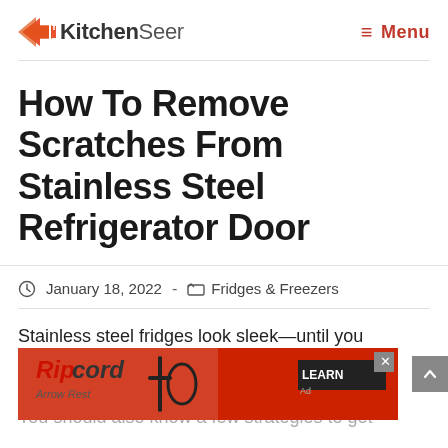KitchenSeer — Menu
How To Remove Scratches From Stainless Steel Refrigerator Door
January 18, 2022 - Fridges & Freezers
Stainless steel fridges look sleek—until you scratch them. Thankfully, you can use many cleaning products and methods. You should also know a few strategies to get
[Figure (other): Ripcord Arrow Rest advertisement banner overlaid on the article text]